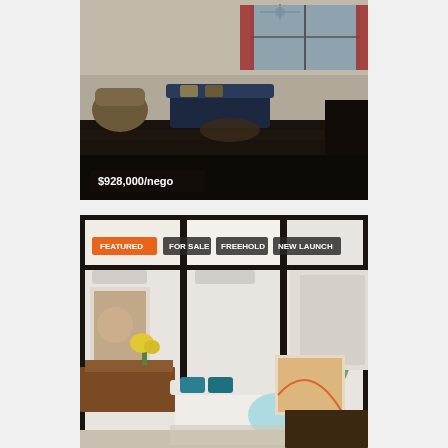[Figure (photo): Interior photo of a living room with dark flooring, sofa, massage chair, and large window with red curtains. Price overlay at bottom left showing $928,000/nego]
$928,000/nego
[Figure (photo): Interior photo of a stylish living area with black structural beams, white walls, white sofas with teal cushions, artwork, and plants. Featured listing with badges: FEATURED, FOR SALE, FREEHOLD, NEW LAUNCH]